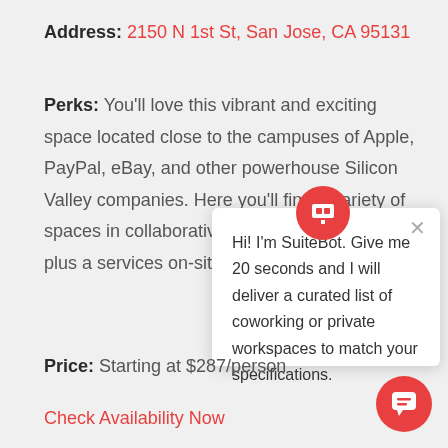Address: 2150 N 1st St, San Jose, CA 95131
Perks: You'll love this vibrant and exciting space located close to the campuses of Apple, PayPal, eBay, and other powerhouse Silicon Valley companies. Here you'll find a variety of spaces in collaborative environments, SmartSuites, plus a range of services on-site. There's nothing you can't do here.
[Figure (screenshot): SuiteBot chat popup with text: Hi! I'm SuiteBot. Give me 20 seconds and I will deliver a curated list of coworking or private workspaces to match your specifications.]
Price: Starting at $287/person
Check Availability Now